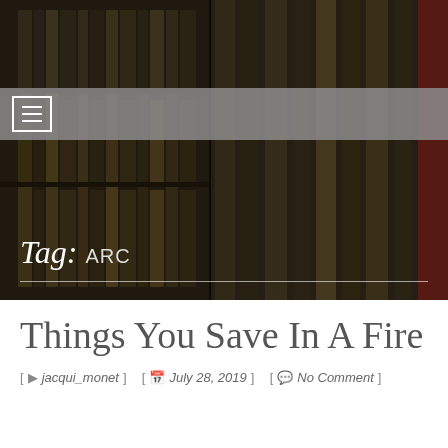[Figure (photo): Dark background photo of library bookshelves with old books, dimly lit, with warm and cool tones. Used as a full-width hero banner image.]
Tag: ARC
Things You Save In A Fire
[ jacqui_monet ]  [ July 28, 2019 ]  [ No Comment ]